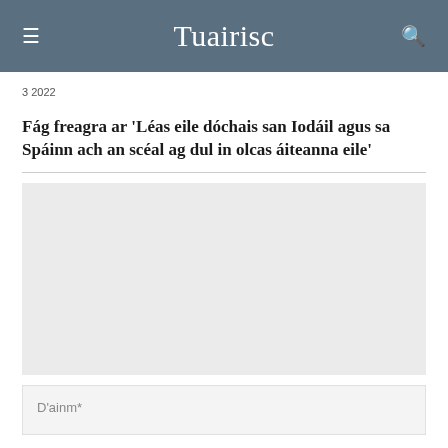Tuairisc
3 2022
Fág freagra ar 'Léas eile dóchais san Iodáil agus sa Spáinn ach an scéal ag dul in olcas áiteanna eile'
[Figure (other): Grey placeholder box for comment form area]
D'ainm*